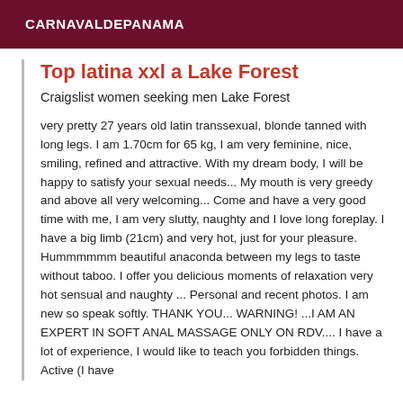CARNAVALDEPANAMA
Top latina xxl a Lake Forest
Craigslist women seeking men Lake Forest
very pretty 27 years old latin transsexual, blonde tanned with long legs. I am 1.70cm for 65 kg, I am very feminine, nice, smiling, refined and attractive. With my dream body, I will be happy to satisfy your sexual needs... My mouth is very greedy and above all very welcoming... Come and have a very good time with me, I am very slutty, naughty and I love long foreplay. I have a big limb (21cm) and very hot, just for your pleasure. Hummmmmm beautiful anaconda between my legs to taste without taboo. I offer you delicious moments of relaxation very hot sensual and naughty ... Personal and recent photos. I am new so speak softly. THANK YOU... WARNING! ...I AM AN EXPERT IN SOFT ANAL MASSAGE ONLY ON RDV.... I have a lot of experience, I would like to teach you forbidden things. Active (I have